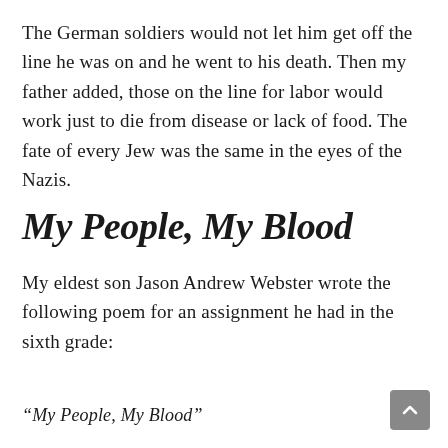The German soldiers would not let him get off the line he was on and he went to his death. Then my father added, those on the line for labor would work just to die from disease or lack of food. The fate of every Jew was the same in the eyes of the Nazis.
My People, My Blood
My eldest son Jason Andrew Webster wrote the following poem for an assignment he had in the sixth grade:
“My People, My Blood”